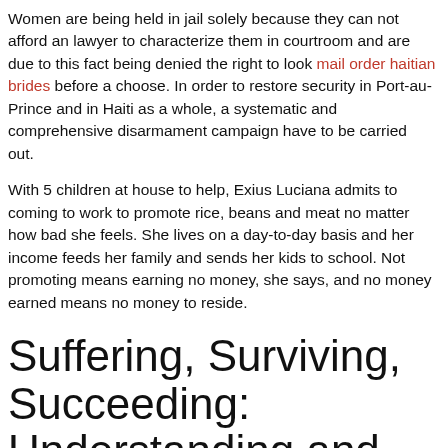Women are being held in jail solely because they can not afford an lawyer to characterize them in courtroom and are due to this fact being denied the right to look mail order haitian brides before a choose. In order to restore security in Port-au-Prince and in Haiti as a whole, a systematic and comprehensive disarmament campaign have to be carried out.
With 5 children at house to help, Exius Luciana admits to coming to work to promote rice, beans and meat no matter how bad she feels. She lives on a day-to-day basis and her income feeds her family and sends her kids to school. Not promoting means earning no money, she says, and no money earned means no money to reside.
Suffering, Surviving, Succeeding: Understanding and Working with Haitian